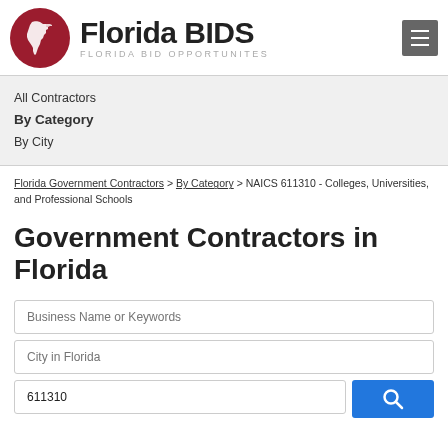[Figure (logo): Florida BIDS logo with red circle containing Florida state map outline, bold text 'Florida BIDS' and subtitle 'FLORIDA BID OPPORTUNITES']
All Contractors
By Category
By City
Florida Government Contractors > By Category > NAICS 611310 - Colleges, Universities, and Professional Schools
Government Contractors in Florida
Business Name or Keywords
City in Florida
611310